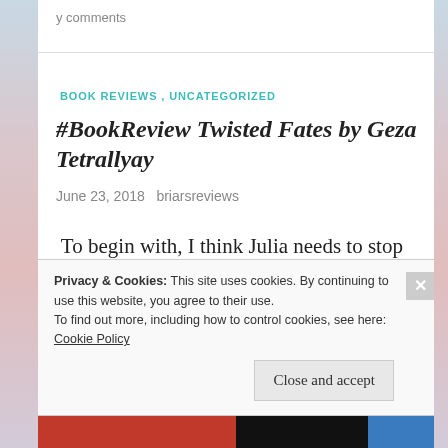y comments
BOOK REVIEWS, UNCATEGORIZED
#BookReview Twisted Fates by Geza Tetrallyay
June 23, 2018   briarsreviews
To begin with, I think Julia needs to stop going outside or something. This girl keeps going missing and getting kidnapped! Get this girl a map and some bodyguards, and maybe we won't
Privacy & Cookies: This site uses cookies. By continuing to use this website, you agree to their use.
To find out more, including how to control cookies, see here:
Cookie Policy

Close and accept